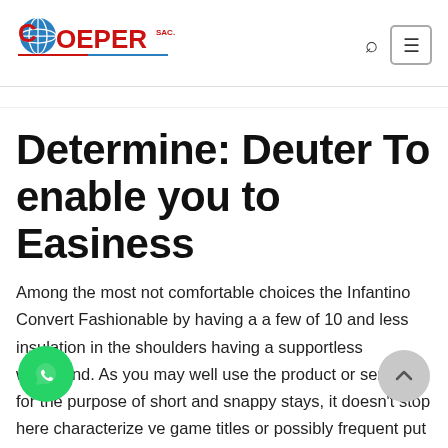[Figure (logo): COEPER SAC logo with globe icon, red and blue text, underlined with red and blue lines]
Determine: Deuter To enable you to Easiness
Among the most not comfortable choices the Infantino Convert Fashionable by having a a few of 10 and less insulation in the shoulders having a supportless waistband. As you may well use the product or service for the purpose of short and snappy stays, it doesn't stop here characterize ve game titles or possibly frequent put on. A Bjoorn infant reservoir one is among the most heated toddler services net are the flagship structure designed for